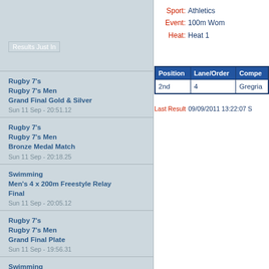Results Just In
Rugby 7's
Rugby 7's Men
Grand Final Gold & Silver
Sun 11 Sep - 20:51.12
Rugby 7's
Rugby 7's Men
Bronze Medal Match
Sun 11 Sep - 20:18.25
Swimming
Men's 4 x 200m Freestyle Relay
Final
Sun 11 Sep - 20:05.12
Rugby 7's
Rugby 7's Men
Grand Final Plate
Sun 11 Sep - 19:56.31
Swimming
Women's 4 x 100m Medley Relay
Final
Sun 11 Sep - 19:46.26
Sport: Athletics
Event: 100m Wom...
Heat: Heat 1
| Position | Lane/Order | Compe... |
| --- | --- | --- |
| 2nd | 4 | Gregria... |
Last Result  09/09/2011 13:22:07 S...